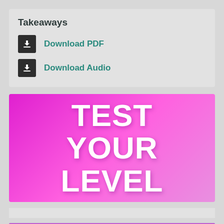Takeaways
Download PDF
Download Audio
[Figure (illustration): Magenta/pink gradient banner with bold white text reading 'TEST YOUR LEVEL']